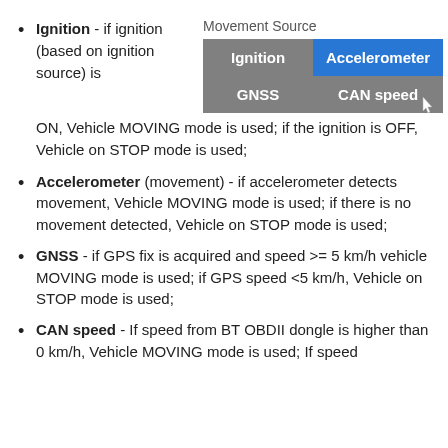Ignition - if ignition (based on ignition source) is ON, Vehicle MOVING mode is used; if the ignition is OFF, Vehicle on STOP mode is used;
[Figure (table-as-image): Movement Source selector table showing four options: Ignition, Accelerometer (highlighted in blue), GNSS, CAN speed]
Accelerometer (movement) - if accelerometer detects movement, Vehicle MOVING mode is used; if there is no movement detected, Vehicle on STOP mode is used;
GNSS - if GPS fix is acquired and speed >= 5 km/h vehicle MOVING mode is used; if GPS speed <5 km/h, Vehicle on STOP mode is used;
CAN speed - If speed from BT OBDII dongle is higher than 0 km/h, Vehicle MOVING mode is used; If speed